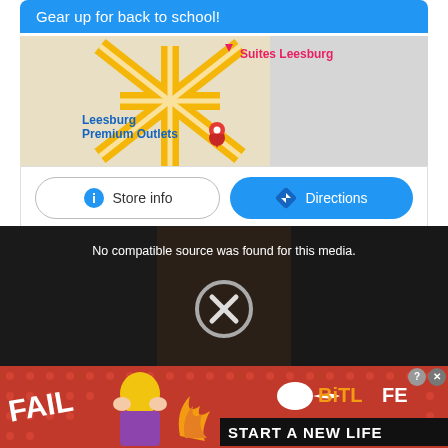Gear up for back to school!
[Figure (map): Google Maps view showing Leesburg Premium Outlets location with a red pin marker and 'Suites Leesburg' label in pink text, with road/interchange visible in yellow]
[Figure (screenshot): Two buttons: 'Store info' with info icon (light border, gray) and 'Directions' with navigation icon (blue background, white text)]
[Figure (screenshot): Dark video player area showing 'No compatible source was found for this media.' text in white, with a circular X icon in the center panel showing locker room scene]
[Figure (infographic): BitLife advertisement banner with red/orange fire background, FAIL text on left, animated character with hands on face, flame, sperm logo, BitLife logo, and 'START A NEW LIFE' black banner text. Has close X button top right.]